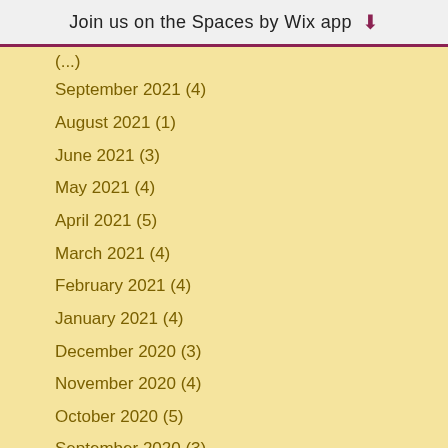Join us on the Spaces by Wix app ↓
September 2021 (4)
August 2021 (1)
June 2021 (3)
May 2021 (4)
April 2021 (5)
March 2021 (4)
February 2021 (4)
January 2021 (4)
December 2020 (3)
November 2020 (4)
October 2020 (5)
September 2020 (3)
August 2020 (1)
July 2020 (3)
June 2020 (4)
May 2020 (5)
April 2020 (4)
March 2020 (9)
February 2020 (4)